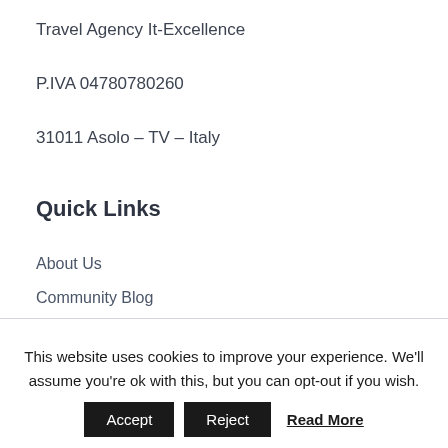Travel Agency It-Excellence
P.IVA 04780780260
31011 Asolo – TV – Italy
Quick Links
About Us
Community Blog
Rewards
Work with Us
This website uses cookies to improve your experience. We'll assume you're ok with this, but you can opt-out if you wish.
Accept  Reject  Read More